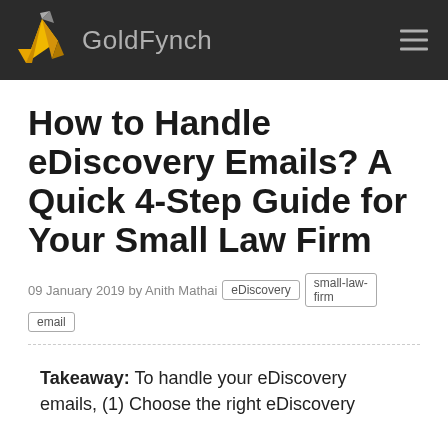GoldFynch
How to Handle eDiscovery Emails? A Quick 4-Step Guide for Your Small Law Firm
09 January 2019 by Anith Mathai  eDiscovery  small-law-firm  email
Takeaway: To handle your eDiscovery emails, (1) Choose the right eDiscovery